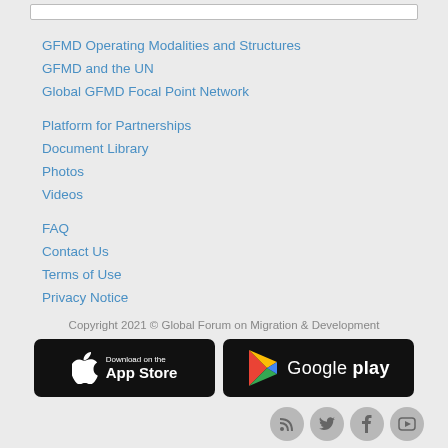GFMD Operating Modalities and Structures
GFMD and the UN
Global GFMD Focal Point Network
Platform for Partnerships
Document Library
Photos
Videos
FAQ
Contact Us
Terms of Use
Privacy Notice
Copyright 2021 © Global Forum on Migration & Development
[Figure (screenshot): App Store and Google Play download buttons side by side on black backgrounds]
[Figure (illustration): Social media icons: RSS, Twitter, Facebook, YouTube]